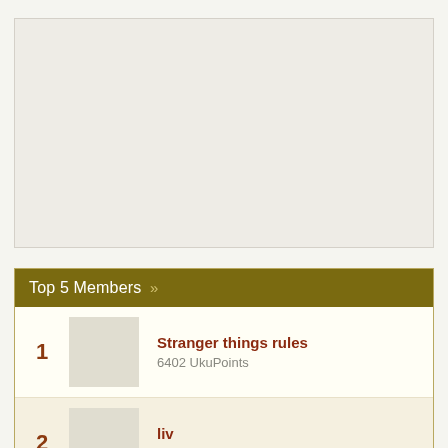[Figure (other): Gray placeholder/advertisement area at top of page]
Top 5 Members »
1 — Stranger things rules — 6402 UkuPoints
2 — liv — 6360 UkuPoints
3 — Ava Green